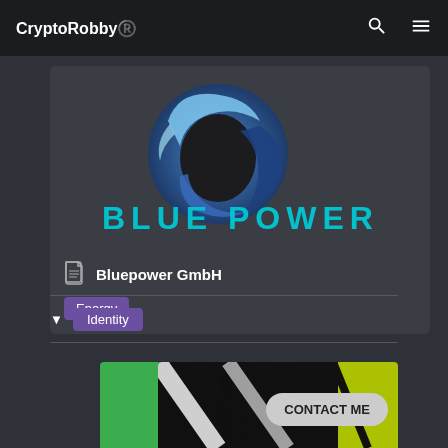CryptoRobby®️
[Figure (logo): Bluepower GmbH logo: circular blue swoosh shape with dark center on dark background, with 'BLUE POWER' text in cyan/blue below]
Bluepower GmbH
Energy
▼  Identity
[Figure (logo): Green background with white hexagon/molecule icon]
[Figure (screenshot): Black and white diagonal stripe logo with yellow accent, CONTACT ME button overlay]